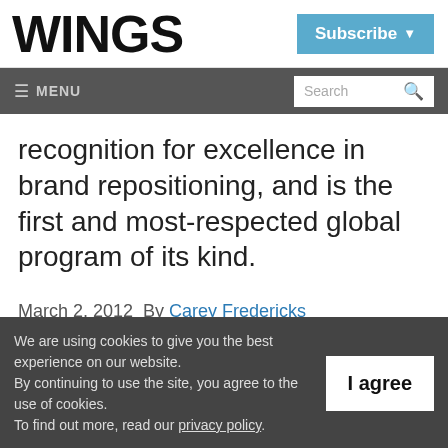WINGS
Subscribe ▾
≡ MENU   Search 🔍
recognition for excellence in brand repositioning, and is the first and most-respected global program of its kind.
March 2, 2012  By Carey Fredericks
We are using cookies to give you the best experience on our website.
By continuing to use the site, you agree to the use of cookies.
To find out more, read our privacy policy.
I agree